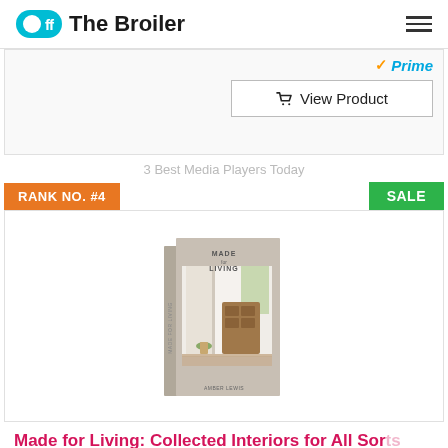Off The Broiler
[Figure (screenshot): Partially visible product card with Amazon Prime badge and View Product button]
RANK NO. #4
SALE
[Figure (photo): Book cover: Made for Living by Amber Lewis, showing interior design with open doors, plants, and wooden furniture]
Made for Living: Collected Interiors for All Sorts of Styles